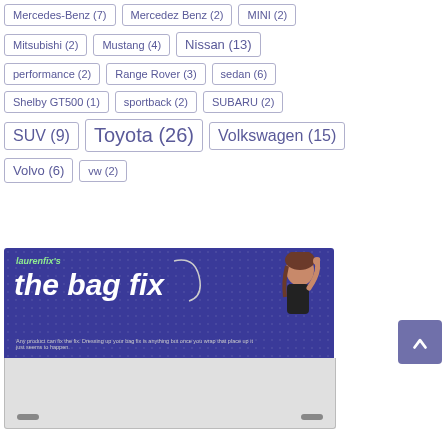Mercedes-Benz (7)
Mercedez Benz (2)
MINI (2)
Mitsubishi (2)
Mustang (4)
Nissan (13)
performance (2)
Range Rover (3)
sedan (6)
Shelby GT500 (1)
sportback (2)
SUBARU (2)
SUV (9)
Toyota (26)
Volkswagen (15)
Volvo (6)
vw (2)
[Figure (photo): Advertisement banner for 'laurenfix's the bag fix' showing a purple background with dotted pattern, bold white italic text reading 'the bag fix', a cartoon figure of a woman with brown hair, and a white car part device below.]